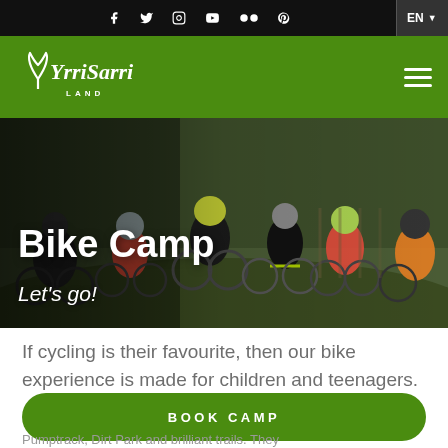f  Twitter  Instagram  YouTube  Flickr  Pinterest  EN
[Figure (logo): YrriSarri Land logo in white on green background with hamburger menu]
[Figure (photo): Group of children and teenagers with mountain bikes on a trail, outdoor setting]
Bike Camp
Let's go!
If cycling is their favourite, then our bike experience is made for children and teenagers.
BOOK CAMP
Pumptrack, Dirt Park and brilliant trails. They